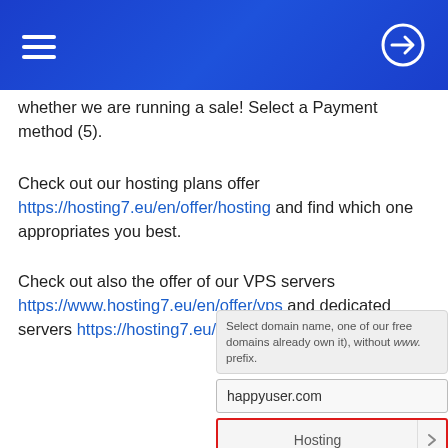[Navigation header with hamburger menu and login icon]
whether we are running a sale! Select a Payment method (5).
Check out our hosting plans offer https://hosting7.eu/en/offer/hosting and find which one appropriates you best.
Check out also the offer of our VPS servers https://www.hosting7.eu/en/offer/vps and dedicated servers https://hosting7.eu/en/offer/dedicated-server.
[Figure (screenshot): UI screenshot showing domain name input field with placeholder 'Select domain name, one of our free domains already own it), without www. prefix.' and an input box showing 'happyuser.com' and a highlighted Hosting button with red border.]